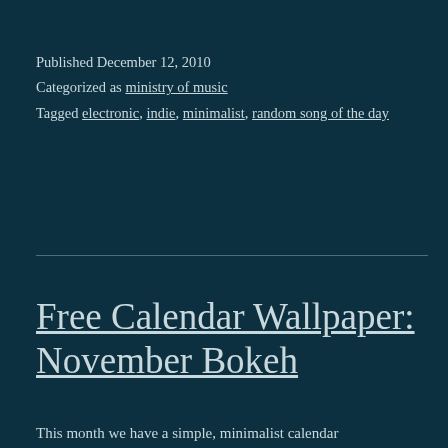Published December 12, 2010
Categorized as ministry of music
Tagged electronic, indie, minimalist, random song of the day
Free Calendar Wallpaper: November Bokeh
This month we have a simple, minimalist calendar